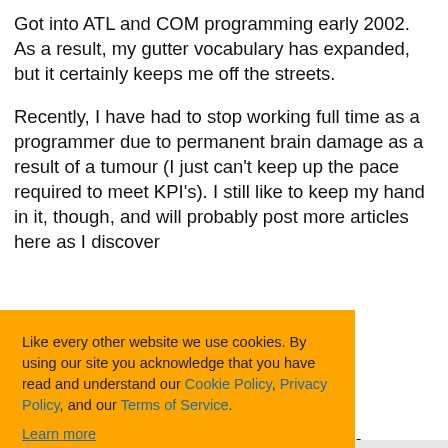Got into ATL and COM programming early 2002. As a result, my gutter vocabulary has expanded, but it certainly keeps me off the streets.
Recently, I have had to stop working full time as a programmer due to permanent brain damage as a result of a tumour (I just can't keep up the pace required to meet KPI's). I still like to keep my hand in it, though, and will probably post more articles here as I discover
Like every other website we use cookies. By using our site you acknowledge that you have read and understand our Cookie Policy, Privacy Policy, and our Terms of Service. Learn more
Ask me later
Decline
Allow cookies
ions